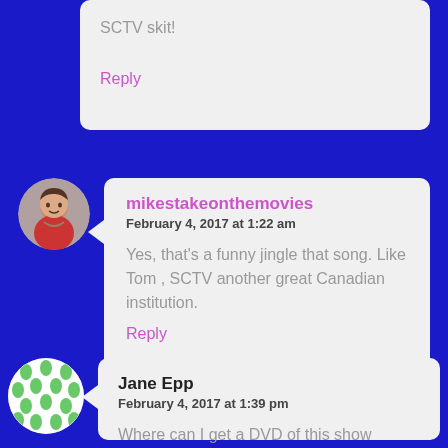SCTV skit!
Reply
mikestakeonthemovies
February 4, 2017 at 1:22 am
Yes, that's a funny jingle that song. Like Tom , SCTV another great Canadian institution.
Reply
Jane Epp
February 4, 2017 at 1:39 pm
Where can I get a DVD of this show